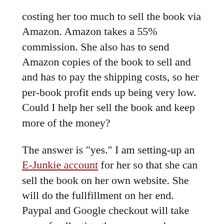costing her too much to sell the book via Amazon. Amazon takes a 55% commission. She also has to send Amazon copies of the book to sell and and has to pay the shipping costs, so her per-book profit ends up being very low. Could I help her sell the book and keep more of the money?
The answer is "yes." I am setting-up an E-Junkie account for her so that she can sell the book on her own website. She will do the fullfillment on her end. Paypal and Google checkout will take care of collecting the money and customer information and she will take care of the fullfillment, sending the book to her customers.